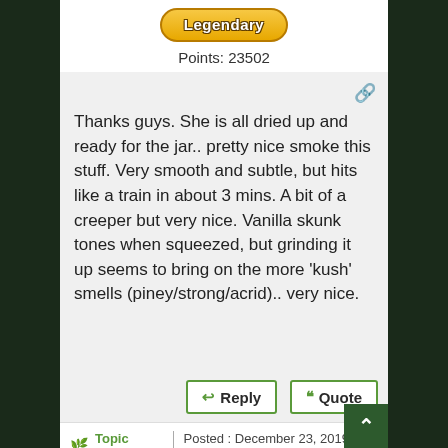[Figure (illustration): Orange rounded badge/button with the text 'Legendary' in bold white font with dark outline]
Points: 23502
Thanks guys. She is all dried up and ready for the jar.. pretty nice smoke this stuff. Very smooth and subtle, but hits like a train in about 3 mins. A bit of a creeper but very nice. Vanilla skunk tones when squeezed, but grinding it up seems to bring on the more 'kush' smells (piney/strong/acrid).. very nice.
Reply | Quote (buttons)
Topic starter | Posted : December 23, 2019 4:58 pm
monkeydo, Growgoo, Woolie and 5 people liked